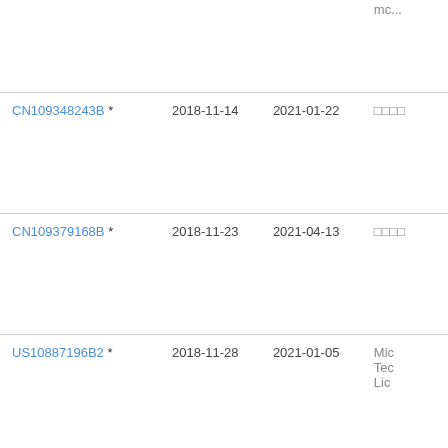| Patent | Filed | Issued | Assignee |
| --- | --- | --- | --- |
| (partial row top) |  |  | mc... |
| CN109348243B * | 2018-11-14 | 2021-01-22 | □□□□ |
| CN109379168B * | 2018-11-23 | 2021-04-13 | □□□□ |
| US10887196B2 * | 2018-11-28 | 2021-01-05 | Mic Tec Lic |
| US11115426B1 * | 2018-12-13 | 2021-09-07 | Cis Inc |
| US11075824B2 * | 2019-06-19 | 2021-07-27 | 128 |